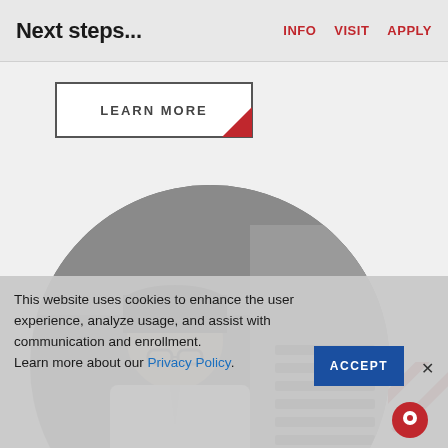Next steps...  INFO  VISIT  APPLY
LEARN MORE
[Figure (photo): Two culinary students in white chef coats and black hats working in a kitchen, with stacked trays visible in the background, shown in a circular crop]
This website uses cookies to enhance the user experience, analyze usage, and assist with communication and enrollment.
Learn more about our Privacy Policy.